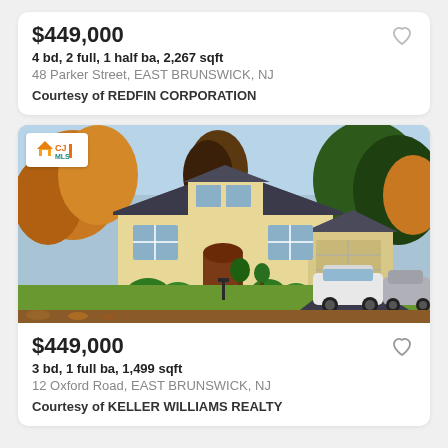$449,000
4 bd, 2 full, 1 half ba, 2,267 sqft
48 Parker Street, EAST BRUNSWICK, NJ
Courtesy of REDFIN CORPORATION
[Figure (photo): Exterior photo of a two-story yellow house with autumn trees, green lawn, and cars in the driveway. CJMLS logo in top left corner.]
$449,000
3 bd, 1 full ba, 1,499 sqft
12 Oxford Road, EAST BRUNSWICK, NJ
Courtesy of KELLER WILLIAMS REALTY